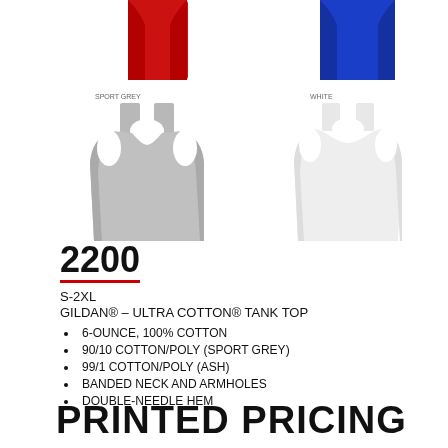[Figure (photo): Four Gildan tank top shirt images: top-left partial red tank, top-right partial blue tank, bottom-left full sport grey tank top, bottom-right full white tank top]
2200
S-2XL
GILDAN® – ULTRA COTTON® TANK TOP
6-OUNCE, 100% COTTON
90/10 COTTON/POLY (SPORT GREY)
99/1 COTTON/POLY (ASH)
BANDED NECK AND ARMHOLES
DOUBLE-NEEDLE HEM
PRINTED PRICING